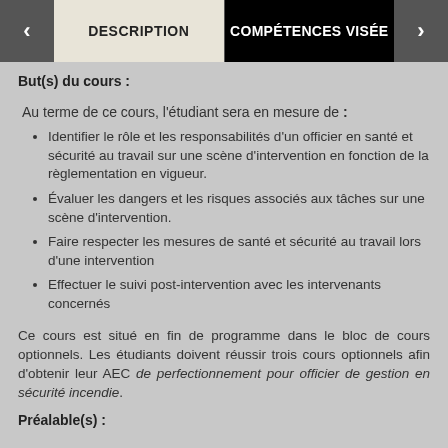DESCRIPTION | COMPÉTENCES VISÉES
But(s) du cours :
Au terme de ce cours, l'étudiant sera en mesure de :
Identifier le rôle et les responsabilités d'un officier en santé et sécurité au travail sur une scène d'intervention en fonction de la règlementation en vigueur.
Évaluer les dangers et les risques associés aux tâches sur une scène d'intervention.
Faire respecter les mesures de santé et sécurité au travail lors d'une intervention
Effectuer le suivi post-intervention avec les intervenants concernés
Ce cours est situé en fin de programme dans le bloc de cours optionnels. Les étudiants doivent réussir trois cours optionnels afin d'obtenir leur AEC de perfectionnement pour officier de gestion en sécurité incendie.
Préalable(s) :